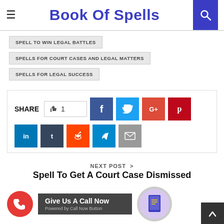Book Of Spells
SPELL TO WIN LEGAL BATTLES
SPELLS FOR COURT CASES AND LEGAL MATTERS
SPELLS FOR LEGAL SUCCESS
[Figure (infographic): Share bar with like count (1), Facebook, Twitter, Google+, Pinterest, LinkedIn, Tumblr, Reddit, Telegram, Email buttons]
NEXT POST > Spell To Get A Court Case Dismissed
[Figure (infographic): Call now button with red circle phone icon, 'Give Us A Call Now' dark box, and a book image]